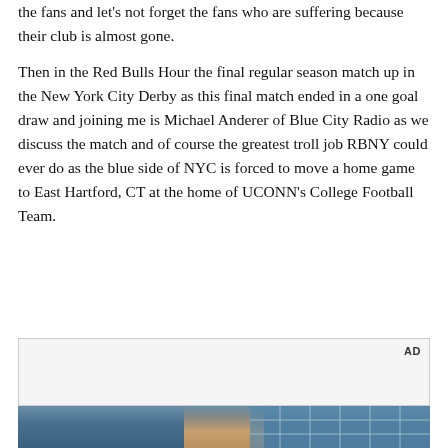the fans and let's not forget the fans who are suffering because their club is almost gone.
Then in the Red Bulls Hour the final regular season match up in the New York City Derby as this final match ended in a one goal draw and joining me is Michael Anderer of Blue City Radio as we discuss the match and of course the greatest troll job RBNY could ever do as the blue side of NYC is forced to move a home game to East Hartford, CT at the home of UCONN's College Football Team.
[Figure (other): Advertisement placeholder box with 'AD' label in top right corner, light gray background]
[Figure (photo): Photo of a young man standing in front of a building with large blue-tinted grid windows, appearing to be at a sports stadium or arena]